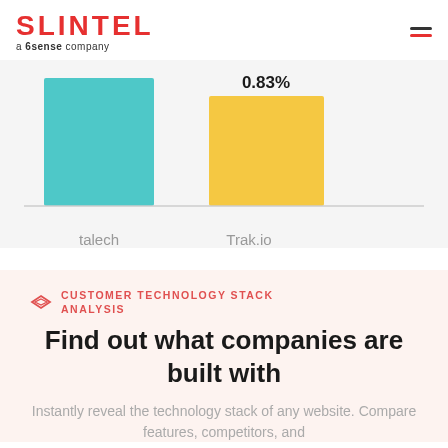SLINTEL a 6sense company
[Figure (bar-chart): ]
talech    Trak.io
CUSTOMER TECHNOLOGY STACK ANALYSIS
Find out what companies are built with
Instantly reveal the technology stack of any website. Compare features, competitors, and